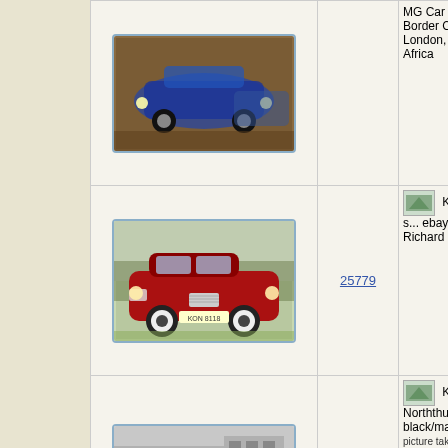| Image | Number | Description |
| --- | --- | --- |
| [photo of classic cars] | 25779 | KA... 25779 Was for s... ebay 12/2... in the han... Richard S... (2006). |
| [black and white photo of police cars lineup] | 25791 | KA... 25791 Norththur... Police ca... black/ma... scrapped... |
|  | 25827 | KA... 25827 |